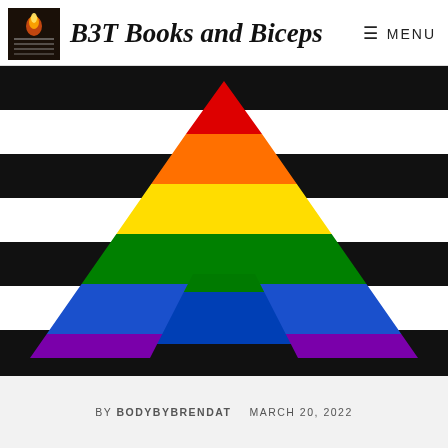B3T Books and Biceps
[Figure (illustration): Straight ally pride flag: alternating black and white horizontal stripes background with a rainbow-colored triangle (red, orange, yellow, green, blue, purple) forming an 'A' shape in the center]
BY BODYBYBRENDAT    MARCH 20, 2022